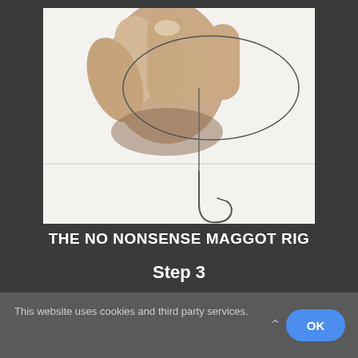[Figure (photo): A hand holding a fishing line above a fishing hook against a white background, demonstrating step 3 of a fishing rig setup.]
THE NO NONSENSE MAGGOT RIG
Step 3
This website uses cookies and third party services.